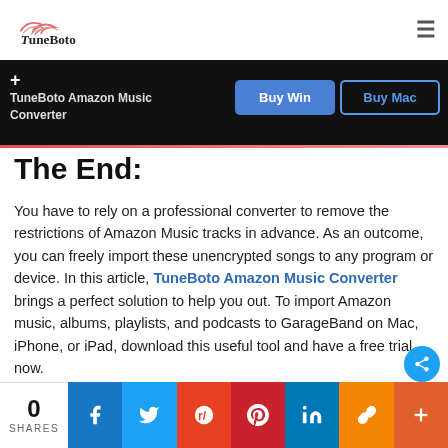TuneBoto
[Figure (screenshot): TuneBoto Amazon Music Converter dark bar with Buy Win and Buy Mac buttons]
The End:
You have to rely on a professional converter to remove the restrictions of Amazon Music tracks in advance. As an outcome, you can freely import these unencrypted songs to any program or device. In this article, TuneBoto Amazon Music Converter brings a perfect solution to help you out. To import Amazon music, albums, playlists, and podcasts to GarageBand on Mac, iPhone, or iPad, download this useful tool and have a free trial now.
[Figure (screenshot): Social sharing bar with 0 SHARES, Facebook, Twitter, Reddit, Pinterest, LinkedIn, link, and more buttons]